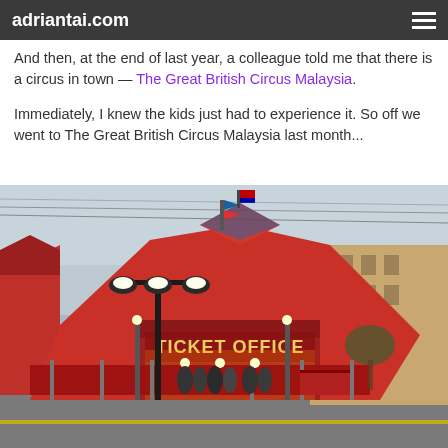adriantai.com
And then, at the end of last year, a colleague told me that there is a circus in town — The Great British Circus Malaysia.
Immediately, I knew the kids just had to experience it. So off we went to The Great British Circus Malaysia last month...
[Figure (photo): Exterior photo of The Great British Circus Malaysia showing a large red tent with 'TICKET OFFICE' signage, street lamps in the foreground, people queuing, and a building on the right side under an overcast sky.]